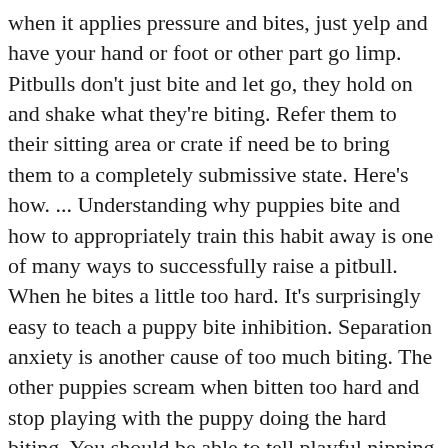when it applies pressure and bites, just yelp and have your hand or foot or other part go limp. Pitbulls don't just bite and let go, they hold on and shake what they're biting. Refer them to their sitting area or crate if need be to bring them to a completely submissive state. Here's how. ... Understanding why puppies bite and how to appropriately train this habit away is one of many ways to successfully raise a pitbull. When he bites a little too hard. It's surprisingly easy to teach a puppy bite inhibition. Separation anxiety is another cause of too much biting. The other puppies scream when bitten too hard and stop playing with the puppy doing the hard biting. You should be able to tell playful nipping from an unfriendly bite because an intentional bite is usually more direct, explains Naito. amzn_assoc_ad_type = "smart"; There are many ways to stop your pit bull puppy from biting. Required fields are marked *. Now, the thing is, Chief (my pit) will nibble on my hands and fingers but will back off when I use my stern voice and tell him " Nice! " They require lots of bonding, and play is a form of that. amzn_assoc_placement =